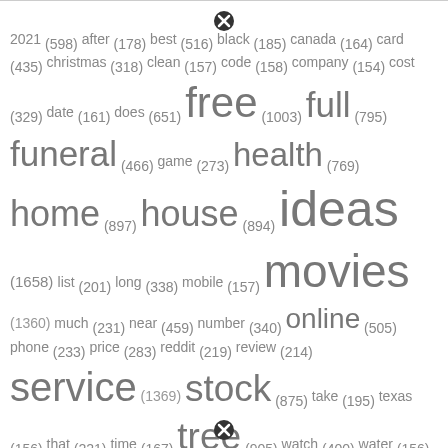[Figure (other): Tag cloud showing words with frequency counts. Words sized proportionally to frequency. Includes: 2021(598), after(178), best(516), black(185), canada(164), card(435), christmas(318), clean(157), code(158), company(154), cost(329), date(161), does(651), free(1003), full(795), funeral(466), game(273), health(769), home(897), house(894), ideas(1658), list(201), long(338), mobile(157), movies(1360), much(231), near(459), number(340), online(505), phone(233), price(283), reddit(219), review(214), service(1369), stock(875), take(195), texas(156), that(221), time(167), tree(905), watch(400), water(156), what(594), white(177), with(890)]